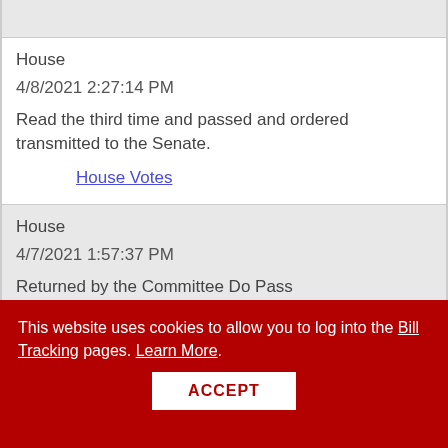| House | 4/8/2021 2:27:14 PM | Read the third time and passed and ordered transmitted to the Senate. | House Votes |
| House | 4/7/2021 1:57:37 PM | Returned by the Committee Do Pass |  |
This website uses cookies to allow you to log into the Bill Tracking pages. Learn More.
ACCEPT